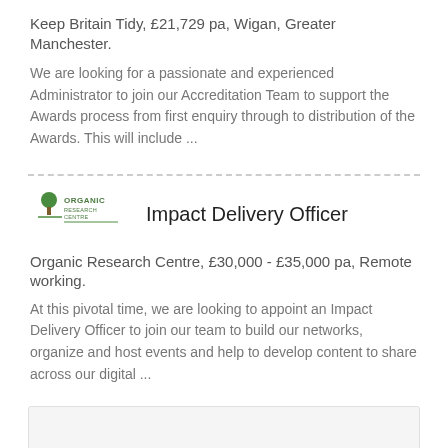Keep Britain Tidy, £21,729 pa, Wigan, Greater Manchester.
We are looking for a passionate and experienced Administrator to join our Accreditation Team to support the Awards process from first enquiry through to distribution of the Awards. This will include ...
[Figure (logo): Organic Research Centre logo with tree icon and text]
Impact Delivery Officer
Organic Research Centre, £30,000 - £35,000 pa, Remote working.
At this pivotal time, we are looking to appoint an Impact Delivery Officer to join our team to build our networks, organize and host events and help to develop content to share across our digital ...
REFINE SEARCH